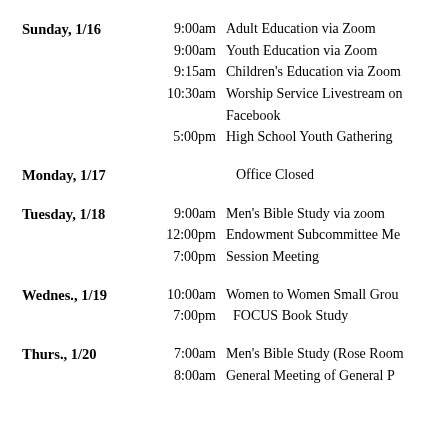Sunday, 1/16 — 9:00am Adult Education via Zoom; 9:00am Youth Education via Zoom; 9:15am Children's Education via Zoom; 10:30am Worship Service Livestream on Facebook; 5:00pm High School Youth Gathering
Monday, 1/17 — Office Closed
Tuesday, 1/18 — 9:00am Men's Bible Study via zoom; 12:00pm Endowment Subcommittee Me...; 7:00pm Session Meeting
Wednes., 1/19 — 10:00am Women to Women Small Grou...; 7:00pm FOCUS Book Study
Thurs., 1/20 — 7:00am Men's Bible Study (Rose Room); 8:00am General Meeting of General P...